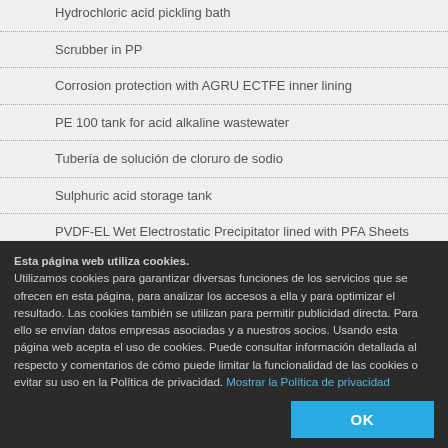Hydrochloric acid pickling bath
Scrubber in PP
Corrosion protection with AGRU ECTFE inner lining
PE 100 tank for acid alkaline wastewater
Tubería de solución de cloruro de sodio
Sulphuric acid storage tank
PVDF-EL Wet Electrostatic Precipitator lined with PFA Sheets
Chimenea de laminado dual Halar ECTFE para una planta de ácido sulfúrico
PE 100-RC caustic soda storage containers
PVDF sheets for chromic acid baths
Germany's largest drinking water storage tank made of
Esta página web utiliza cookies.
Utilizamos cookies para garantizar diversas funciones de los servicios que se ofrecen en esta página, para analizar los accesos a ella y para optimizar el resultado. Las cookies también se utilizan para permitir publicidad directa. Para ello se envían datos empresas asociadas y a nuestros socios. Usando esta página web acepta el uso de cookies. Puede consultar información detallada al respecto y comentarios de cómo puede limitar la funcionalidad de las cookies o evitar su uso en la Política de privacidad. Mostrar la Política de privacidad